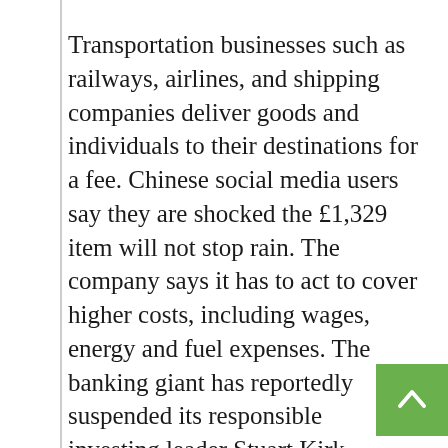Transportation businesses such as railways, airlines, and shipping companies deliver goods and individuals to their destinations for a fee. Chinese social media users say they are shocked the £1,329 item will not stop rain. The company says it has to act to cover higher costs, including wages, energy and fuel expenses. The banking giant has reportedly suspended its responsible investing leader Stuart Kirk. Waiting times can range from 16 seconds to over 30 minutes depending on the bank, says Which?. Businesses across the world are committing to measurable climate action — but what exactly are they doing, and why?
Founded in 1977 by Steve Jobs and Steve Wozniak, Apple became the first publicly trade company whose value hit $1 trillion. The first